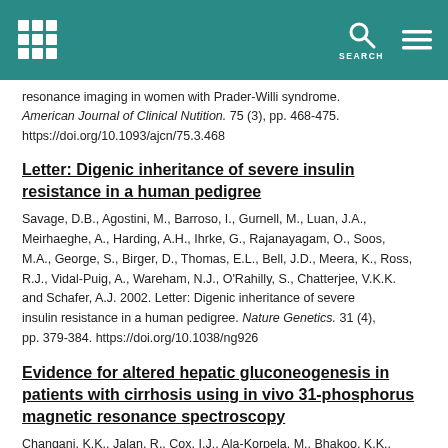SEARCH
resonance imaging in women with Prader-Willi syndrome. American Journal of Clinical Nutition. 75 (3), pp. 468-475. https://doi.org/10.1093/ajcn/75.3.468
Letter: Digenic inheritance of severe insulin resistance in a human pedigree
Savage, D.B., Agostini, M., Barroso, I., Gurnell, M., Luan, J.A., Meirhaeghe, A., Harding, A.H., Ihrke, G., Rajanayagam, O., Soos, M.A., George, S., Birger, D., Thomas, E.L., Bell, J.D., Meera, K., Ross, R.J., Vidal-Puig, A., Wareham, N.J., O'Rahilly, S., Chatterjee, V.K.K. and Schafer, A.J. 2002. Letter: Digenic inheritance of severe insulin resistance in a human pedigree. Nature Genetics. 31 (4), pp. 379-384. https://doi.org/10.1038/ng926
Evidence for altered hepatic gluconeogenesis in patients with cirrhosis using in vivo 31-phosphorus magnetic resonance spectroscopy
Changani, K.K., Jalan, R., Cox, I.J., Ala-Korpela, M., Bhakoo, K.K.,